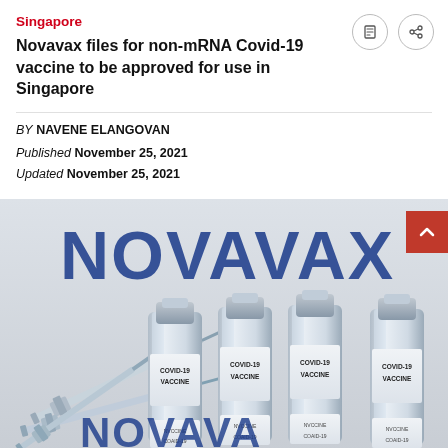Singapore
Novavax files for non-mRNA Covid-19 vaccine to be approved for use in Singapore
BY NAVENE ELANGOVAN
Published November 25, 2021
Updated November 25, 2021
[Figure (photo): Four vaccine vials labeled COVID-19 VACCINE with syringes in foreground; large NOVAVAX text in blue in the background]